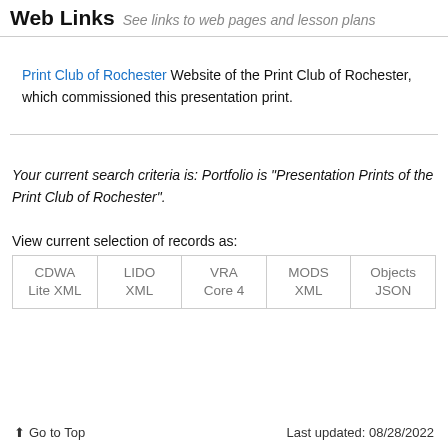Web Links See links to web pages and lesson plans
Print Club of Rochester Website of the Print Club of Rochester, which commissioned this presentation print.
Your current search criteria is: Portfolio is "Presentation Prints of the Print Club of Rochester".
View current selection of records as:
| CDWA Lite XML | LIDO XML | VRA Core 4 | MODS XML | Objects JSON |
| --- | --- | --- | --- | --- |
⬆ Go to Top    Last updated: 08/28/2022